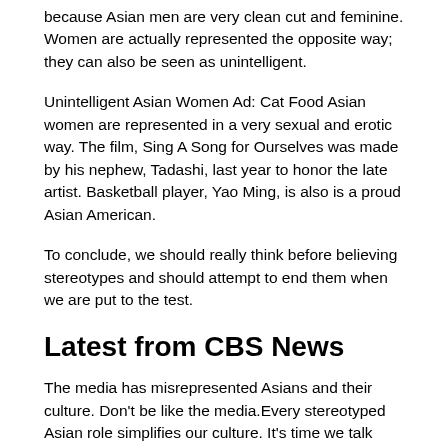because Asian men are very clean cut and feminine. Women are actually represented the opposite way; they can also be seen as unintelligent.
Unintelligent Asian Women Ad: Cat Food Asian women are represented in a very sexual and erotic way. The film, Sing A Song for Ourselves was made by his nephew, Tadashi, last year to honor the late artist. Basketball player, Yao Ming, is also is a proud Asian American.
To conclude, we should really think before believing stereotypes and should attempt to end them when we are put to the test.
Latest from CBS News
The media has misrepresented Asians and their culture. Don't be like the media.Every stereotyped Asian role simplifies our culture. It's time we talk about whitewashing and move passed the stereotypes. Essay on Social